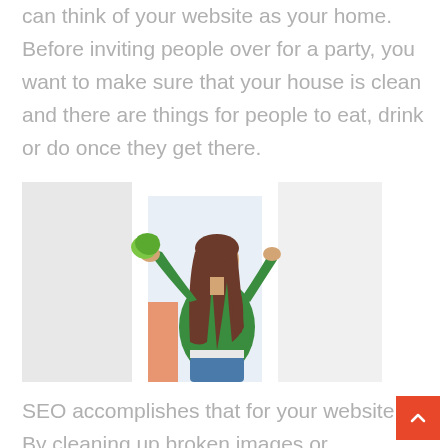can think of your website as your home. Before inviting people over for a party, you want to make sure that your house is clean and there are things for people to eat, drink or do once they get there.
[Figure (photo): A woman with long brown hair wearing a green top, viewed from behind, cleaning or wiping a white door frame with a green cloth.]
SEO accomplishes that for your website. By cleaning up broken images or